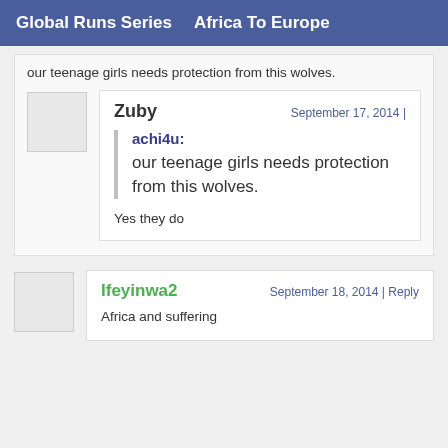Global Runs Series    Africa To Europe
our teenage girls needs protection from this wolves.
Zuby
September 17, 2014 |
achi4u:
our teenage girls needs protection from this wolves.
Yes they do
Ifeyinwa2
September 18, 2014 | Reply
Africa and suffering